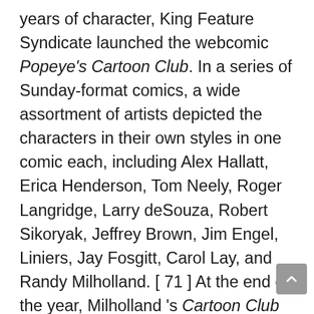years of character, King Feature Syndicate launched the webcomic Popeye's Cartoon Club. In a series of Sunday-format comics, a wide assortment of artists depicted the characters in their own styles in one comic each, including Alex Hallatt, Erica Henderson, Tom Neely, Roger Langridge, Larry deSouza, Robert Sikoryak, Jeffrey Brown, Jim Engel, Liniers, Jay Fosgitt, Carol Lay, and Randy Milholland. [ 71 ] At the end of the year, Milholland 's Cartoon Club comic was declared the numeral one comedian of the year on King Features ' web site, Comics Kingdom. [ 72 ] From February through April 2020, Cartoon Club ran an extra five comics by Milholland. [ 73 ] [ 74 ] [ 75 ] [ 76 ] [ 77 ] From May 28 through July 6, 2020, Popeye's Cartoon Club ran casual comics from Randy